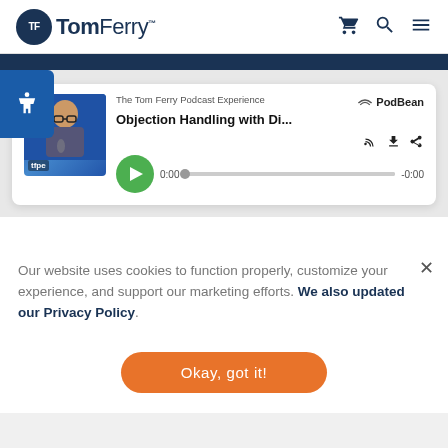TomFerry
[Figure (screenshot): Podcast player card showing 'The Tom Ferry Podcast Experience' with episode 'Objection Handling with Di...' on PodBean. Green play button, progress bar showing 0:00 / -0:00.]
Our website uses cookies to function properly, customize your experience, and support our marketing efforts. We also updated our Privacy Policy.
Okay, got it!